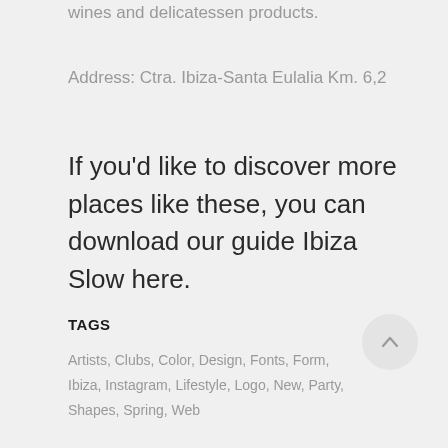wines and delicatessen products.
Address: Ctra. Ibiza-Santa Eulalia Km. 6,2
If you'd like to discover more places like these, you can download our guide Ibiza Slow here.
TAGS
Artists, Clubs, Color, Design, Fonts, Form, Ibiza, Instagram, Lifestyle, Logo, New, Party, Shapes, Spring, Web